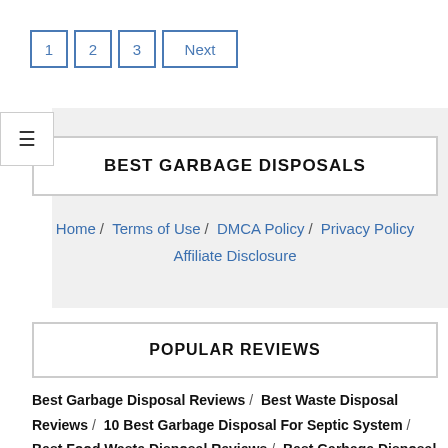1  2  3  Next
BEST GARBAGE DISPOSALS
Home / Terms of Use / DMCA Policy / Privacy Policy / Affiliate Disclosure
POPULAR REVIEWS
Best Garbage Disposal Reviews / Best Waste Disposal Reviews / 10 Best Garbage Disposal For Septic System / Best Food Waste Disposal Reviews / Best Garbage Disposal Switch / 4 Best Garbage Disposal